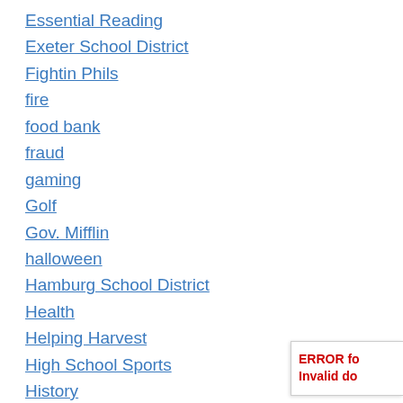Essential Reading
Exeter School District
Fightin Phils
fire
food bank
fraud
gaming
Golf
Gov. Mifflin
halloween
Hamburg School District
Health
Helping Harvest
High School Sports
History
ERROR for site owner: Invalid domain for site key